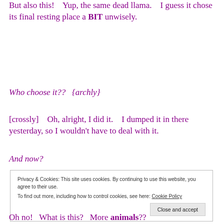But also this!   Yup, the same dead llama.   I guess it chose its final resting place a BIT unwisely.
Who choose it??  {archly}
[crossly]   Oh, alright, I did it.   I dumped it in there yesterday, so I wouldn't have to deal with it.
And now?
Privacy & Cookies: This site uses cookies. By continuing to use this website, you agree to their use. To find out more, including how to control cookies, see here: Cookie Policy
Oh no!   What is this?   More animals??